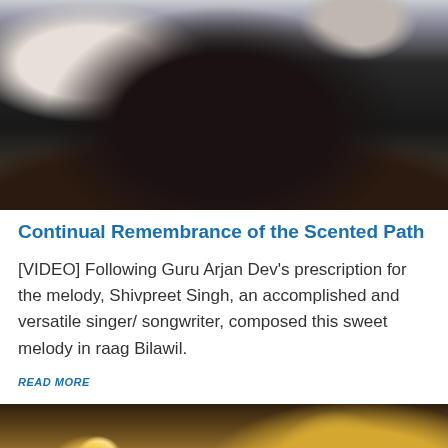[Figure (photo): Close-up photo of a Sikh man with a dark beard and turban, cropped showing mainly the face and beard area, with a light/white background visible.]
Continual Remembrance of the Scented Path
[VIDEO] Following Guru Arjan Dev's prescription for the melody, Shivpreet Singh, an accomplished and versatile singer/ songwriter, composed this sweet melody in raag Bilawil.
READ MORE
[Figure (photo): Photo of the Golden Temple (Harmandir Sahib) in Amritsar at night or dusk, illuminated with golden lights, with a hazy/foggy atmosphere and a bright light orb visible on the left side.]